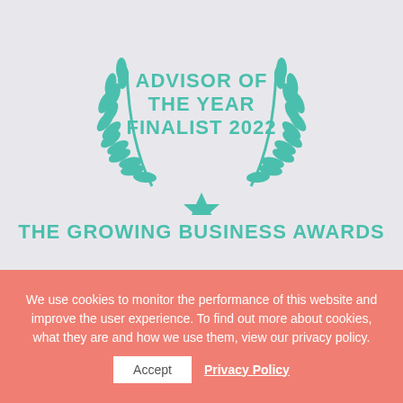[Figure (logo): Laurel wreath award badge with teal/green color and a star at the bottom center, surrounding the text ADVISOR OF THE YEAR FINALIST 2022]
ADVISOR OF THE YEAR FINALIST 2022
THE GROWING BUSINESS AWARDS
We use cookies to monitor the performance of this website and improve the user experience. To find out more about cookies, what they are and how we use them, view our privacy policy.
Accept  Privacy Policy